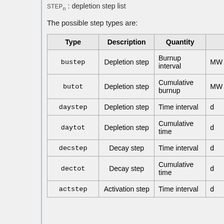STEP_n : depletion step list
The possible step types are:
| Type | Description | Quantity |  |
| --- | --- | --- | --- |
| bustep | Depletion step | Burnup interval | MW |
| butot | Depletion step | Cumulative burnup | MW |
| daystep | Depletion step | Time interval | d |
| daytot | Depletion step | Cumulative time | d |
| decstep | Decay step | Time interval | d |
| dectot | Decay step | Cumulative time | d |
| actstep | Activation step | Time interval | d |